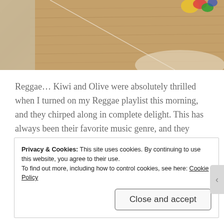[Figure (photo): Partial photo of a bird (likely a parrot or parakeet) on a wooden surface with colorful object visible at top right. Photo is cropped, showing wood grain background.]
Reggae… Kiwi and Olive were absolutely thrilled when I turned on my Reggae playlist this morning, and they chirped along in complete delight. This has always been their favorite music genre, and they never seem to get tired of summertime vibes.
REPORT THIS AD
Privacy & Cookies: This site uses cookies. By continuing to use this website, you agree to their use.
To find out more, including how to control cookies, see here: Cookie Policy
Close and accept